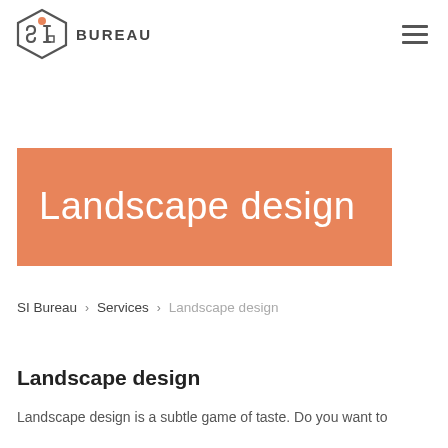SI BUREAU [logo] [hamburger menu]
Landscape design
SI Bureau › Services › Landscape design
Landscape design
Landscape design is a subtle game of taste. Do you want to